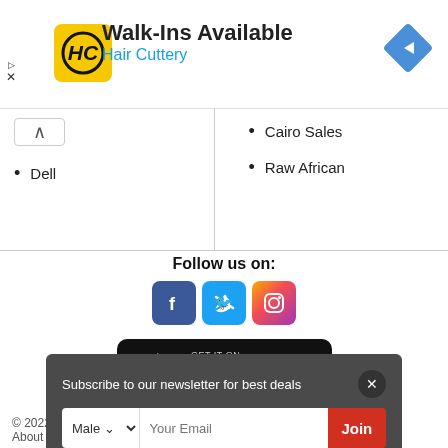[Figure (logo): Hair Cuttery advertisement banner with HC logo in yellow square, Walk-Ins Available heading, Hair Cuttery subtitle in blue, and navigation diamond icon]
Dell
Cairo Sales
Raw African
Follow us on:
[Figure (infographic): Social media icons: Facebook (blue), Twitter (blue), Instagram (gradient)]
[Figure (infographic): GET IT ON Google Play app store button]
[Figure (infographic): Download on the App Store button]
Subscribe to our newsletter for best deals
© 2022
About